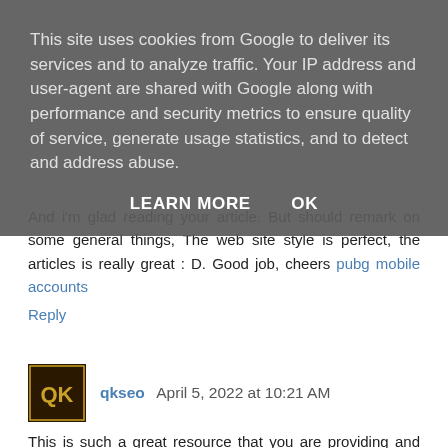This site uses cookies from Google to deliver its services and to analyze traffic. Your IP address and user-agent are shared with Google along with performance and security metrics to ensure quality of service, generate usage statistics, and to detect and address abuse.
LEARN MORE   OK
And i'm glad reading your article. But should remark on some general things, The web site style is perfect, the articles is really great : D. Good job, cheers pubg mobile accounts
Reply
qkseo  April 5, 2022 at 10:21 AM
This is such a great resource that you are providing and you give it away for free. I love seeing blog that understand the value of providing a quality resource for free. ibmseo
Reply